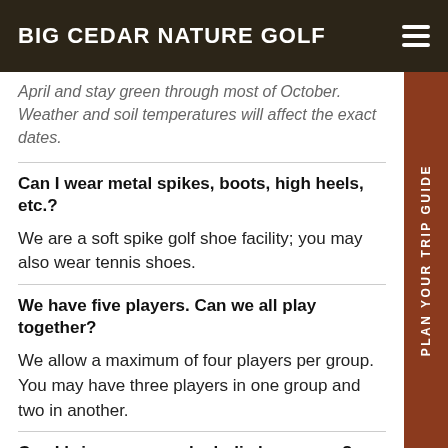BIG CEDAR NATURE GOLF
April and stay green through most of October. Weather and soil temperatures will affect the exact dates.
Can I wear metal spikes, boots, high heels, etc.?
We are a soft spike golf shoe facility; you may also wear tennis shoes.
We have five players. Can we all play together?
We allow a maximum of four players per group. You may have three players in one group and two in another.
Can I bring my own alcoholic beverages?
Outside alcoholic beverages are not allowed, but we